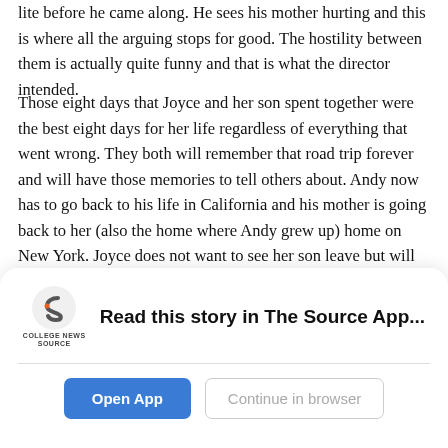lite before he came along. He sees his mother hurting and this is where all the arguing stops for good. The hostility between them is actually quite funny and that is what the director intended.
Those eight days that Joyce and her son spent together were the best eight days for her life regardless of everything that went wrong. They both will remember that road trip forever and will have those memories to tell others about. Andy now has to go back to his life in California and his mother is going back to her (also the home where Andy grew up) home on New York. Joyce does not want to see her son leave but will go on with her life much happier then before after have gone on that trip. She tells her son that she was lonely in her life but she will not be lonely anymore because she has the greatest son in the whole world to have brought her
[Figure (logo): College News Source logo — stylized S icon in dark gray/orange and text 'COLLEGE NEWS SOURCE']
Read this story in The Source App...
Open App
Continue in browser